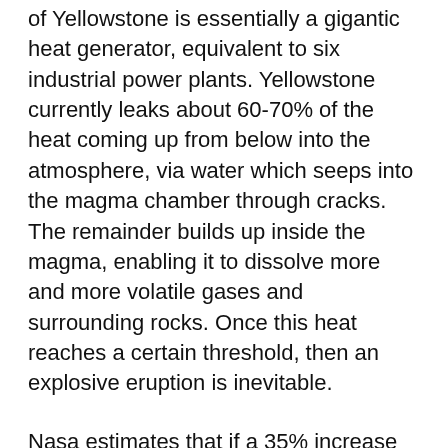of Yellowstone is essentially a gigantic heat generator, equivalent to six industrial power plants. Yellowstone currently leaks about 60-70% of the heat coming up from below into the atmosphere, via water which seeps into the magma chamber through cracks. The remainder builds up inside the magma, enabling it to dissolve more and more volatile gases and surrounding rocks. Once this heat reaches a certain threshold, then an explosive eruption is inevitable.
Nasa estimates that if a 35% increase in heat transfer could be achieved from its magma chamber, Yellowstone would no longer pose a threat. The only question is how?
...